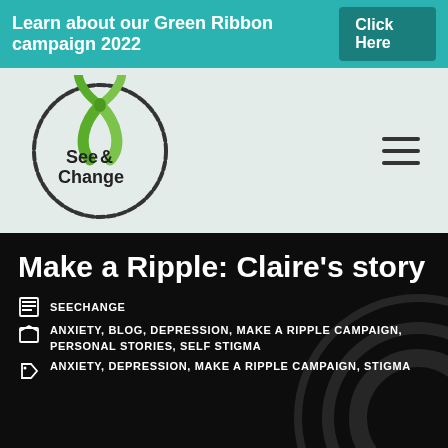Learn about our Green Ribbon campaign 2022   Click Here
[Figure (logo): See Change logo with green ribbon inside circular brushstroke border]
Make a Ripple: Claire's story
SEECHANGE
ANXIETY, BLOG, DEPRESSION, MAKE A RIPPLE CAMPAIGN, PERSONAL STORIES, SELF STIGMA
ANXIETY, DEPRESSION, MAKE A RIPPLE CAMPAIGN, STIGMA